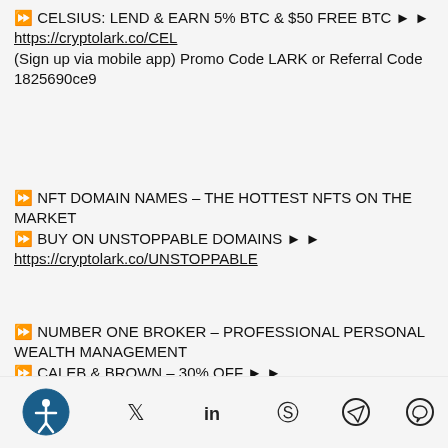⏩ CELSIUS: LEND & EARN 5% BTC & $50 FREE BTC ► ► https://cryptolark.co/CEL (Sign up via mobile app) Promo Code LARK or Referral Code 1825690ce9
⏩ NFT DOMAIN NAMES – THE HOTTEST NFTS ON THE MARKET ⏩ BUY ON UNSTOPPABLE DOMAINS ► ► https://cryptolark.co/UNSTOPPABLE
⏩ NUMBER ONE BROKER – PROFESSIONAL PERSONAL WEALTH MANAGEMENT ⏩ CALEB & BROWN – 30% OFF ► ► https://cryptolark.co/CB
[Figure (infographic): Footer bar with accessibility icon (person-in-circle) and social media icons for Twitter, LinkedIn, Pinterest, Telegram, WhatsApp]